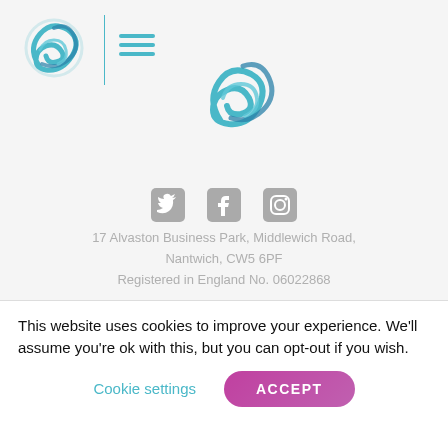[Figure (logo): Teal/blue ribbon spiral logo on the left in the header bar]
[Figure (logo): Hamburger menu icon (three horizontal teal lines) in header bar]
[Figure (logo): Larger teal/blue ribbon spiral logo centered lower in header]
[Figure (infographic): Social media icons: Twitter bird, Facebook 'f', Instagram camera square — all in grey]
17 Alvaston Business Park, Middlewich Road, Nantwich, CW5 6PF
Registered in England No. 06022868
01270 624445
This website uses cookies to improve your experience. We'll assume you're ok with this, but you can opt-out if you wish.
Cookie settings
ACCEPT